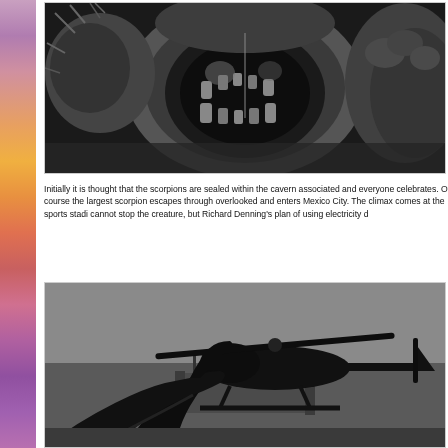[Figure (photo): Black and white close-up photograph of a giant scorpion monster's face/head, showing teeth and detailed creature features from a 1950s science fiction film]
Initially it is thought that the scorpions are sealed within the cavern associated and everyone celebrates. Of course the largest scorpion escapes through overlooked and enters Mexico City. The climax comes at the sports stadi cannot stop the creature, but Richard Denning's plan of using electricity d
[Figure (photo): Black and white photograph of a giant scorpion monster attacking or grabbing a helicopter, silhouetted against a light sky, from a 1950s science fiction film]